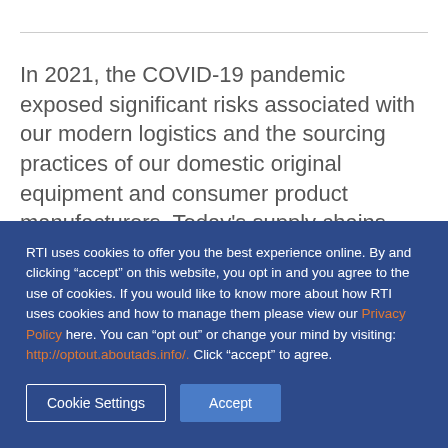In 2021, the COVID-19 pandemic exposed significant risks associated with our modern logistics and the sourcing practices of our domestic original equipment and consumer product manufacturers. Today's supply chains...
RTI uses cookies to offer you the best experience online. By and clicking “accept” on this website, you opt in and you agree to the use of cookies. If you would like to know more about how RTI uses cookies and how to manage them please view our Privacy Policy here. You can “opt out” or change your mind by visiting: http://optout.aboutads.info/. Click “accept” to agree.